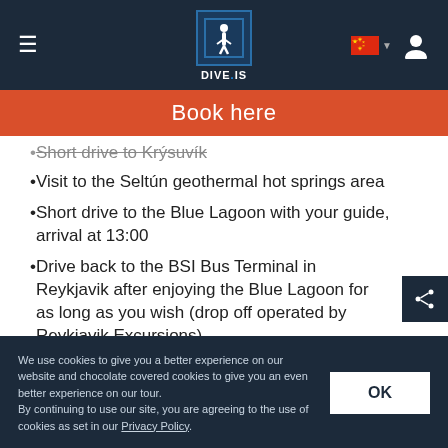[Figure (screenshot): Navigation bar with hamburger menu, DIVE.IS logo, Chinese flag dropdown, and user icon on dark navy background]
Book here
Short drive to Krýsuvík
Visit to the Seltún geothermal hot springs area
Short drive to the Blue Lagoon with your guide, arrival at 13:00
Drive back to the BSI Bus Terminal in Reykjavik after enjoying the Blue Lagoon for as long as you wish (drop off operated by Reykjavik Excursions)
We use cookies to give you a better experience on our website and chocolate covered cookies to give you an even better experience on our tour. By continuing to use our site, you are agreeing to the use of cookies as set in our Privacy Policy.